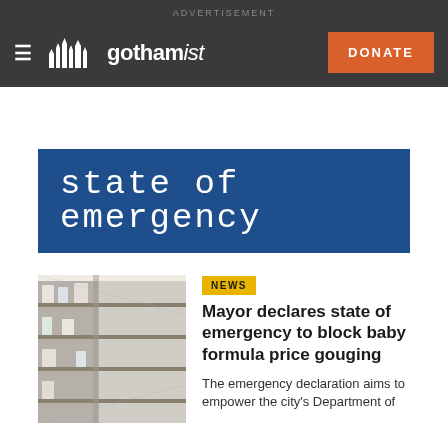ADVERTISEMENT
[Figure (logo): Gothamist logo with skyline icon and wordmark on dark background, with hamburger menu icon and orange DONATE button]
[Figure (photo): Store shelves with sparse baby formula products]
state of emergency
NEWS
Mayor declares state of emergency to block baby formula price gouging
The emergency declaration aims to empower the city's Department of